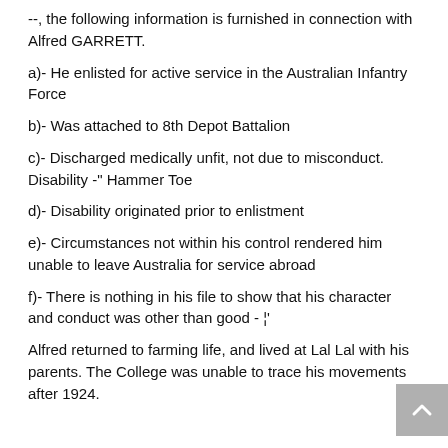--, the following information is furnished in connection with Alfred GARRETT.
a)- He enlisted for active service in the Australian Infantry Force
b)- Was attached to 8th Depot Battalion
c)- Discharged medically unfit, not due to misconduct. Disability -" Hammer Toe
d)- Disability originated prior to enlistment
e)- Circumstances not within his control rendered him unable to leave Australia for service abroad
f)- There is nothing in his file to show that his character and conduct was other than good - ¦'
Alfred returned to farming life, and lived at Lal Lal with his parents. The College was unable to trace his movements after 1924.